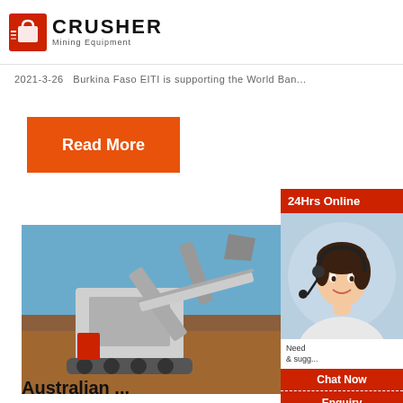CRUSHER Mining Equipment
2021-3-26   Burkina Faso EITI is supporting the World Ban...
Read More
[Figure (photo): Mining crusher machine at a construction/mining site with excavator arm and blue sky background]
Deadl... attac... Burkin... gold m... has
Australian ...
[Figure (photo): 24Hrs Online sidebar with woman wearing headset, Need & suggestions text, Chat Now button, Enquiry, and email limingjlmofen@sina.com]